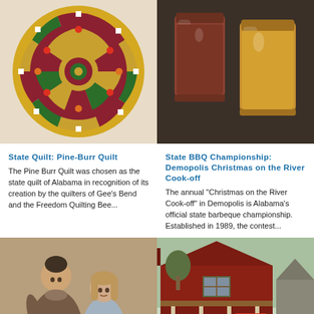[Figure (photo): Colorful circular Pine-Burr Quilt with geometric patchwork pattern in red, green, orange, and white on a light background]
[Figure (photo): Two glass jars containing liquid — one reddish-brown BBQ sauce and one golden/orange liquid — on a dark surface]
State Quilt: Pine-Burr Quilt
The Pine Burr Quilt was chosen as the state quilt of Alabama in recognition of its creation by the quilters of Gee's Bend and the Freedom Quilting Bee...
State BBQ Championship: Demopolis Christmas on the River Cook-off
The annual "Christmas on the River Cook-off" in Demopolis is Alabama's official state barbeque championship. Established in 1989, the contest...
[Figure (photo): A woman in period dress kneeling and speaking to a young girl, both in early 20th century clothing, outdoors]
[Figure (photo): A dark red wooden general store building with a covered porch, displaying vintage items and signs including a Coca-Cola logo]